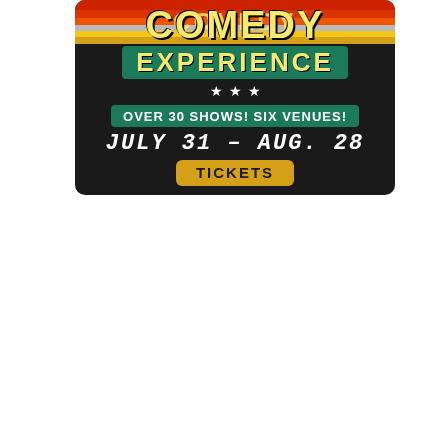[Figure (illustration): Comedy event poster on dark background. Shows 'COMEDY EXPERIENCE' in large yellow text with retro stripe design at top, teal green banner with 'OVER 30 SHOWS! SIX VENUES!', handwritten-style text 'JULY 31 – AUG. 28', and a yellow 'TICKETS' button. Stars decorating the design.]